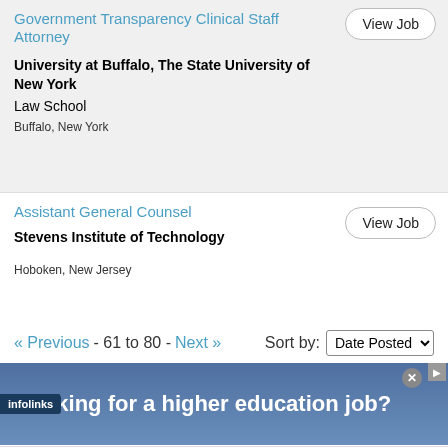Government Transparency Clinical Staff Attorney
View Job
University at Buffalo, The State University of New York
Law School
Buffalo, New York
Assistant General Counsel
View Job
Stevens Institute of Technology
Hoboken, New Jersey
« Previous - 61 to 80 - Next »  Sort by: Date Posted
Looking for a higher education job?
infolinks
World's largest online restaurant supplier
Popular Restaurant Supply Brands
www.webstaurantstore.com